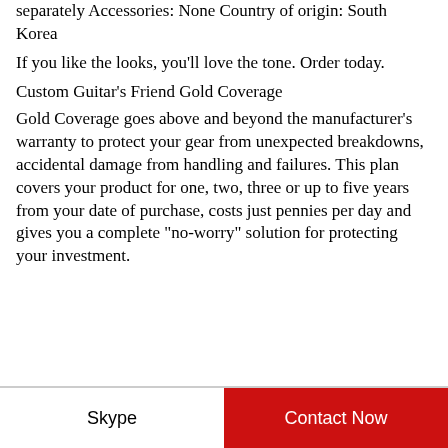separately Accessories: None Country of origin: South Korea
If you like the looks, you'll love the tone. Order today.
Custom Guitar's Friend Gold Coverage
Gold Coverage goes above and beyond the manufacturer's warranty to protect your gear from unexpected breakdowns, accidental damage from handling and failures. This plan covers your product for one, two, three or up to five years from your date of purchase, costs just pennies per day and gives you a complete "no-worry" solution for protecting your investment.
Skype | Contact Now